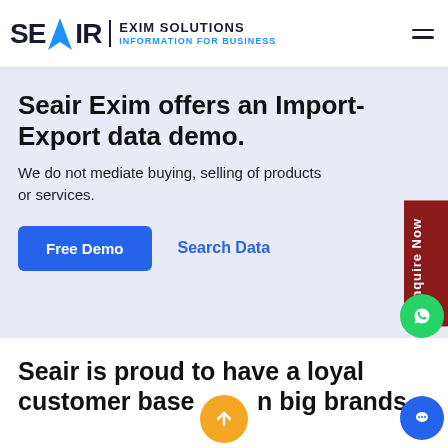SEAIR EXIM SOLUTIONS — INFORMATION FOR BUSINESS
Seair Exim offers an Import-Export data demo.
We do not mediate buying, selling of products or services.
Free Demo   Search Data
Seair is proud to have a loyal customer base of big brands.